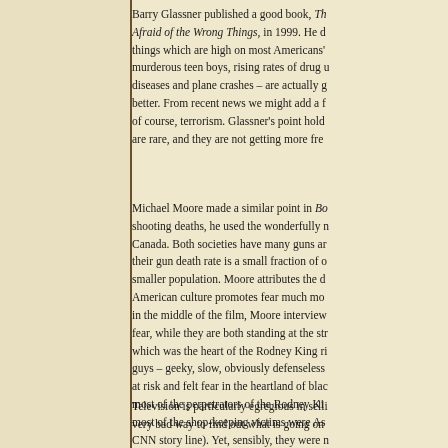Barry Glassner published a good book, The Culture of Fear: Why Americans Are Afraid of the Wrong Things, in 1999. He documented that things which are high on most Americans' fear lists – murderous teen boys, rising rates of drug use, diseases and plane crashes – are actually getting better. From recent news we might add a few, of course, terrorism. Glassner's point holds: these are rare, and they are not getting more frequent.
Michael Moore made a similar point in Bowling for Columbine. To explain shooting deaths, he used the wonderfully natural experiment of Canada. Both societies have many guns and their gun death rate is a small fraction of ours, despite a smaller population. Moore attributes the difference to American culture promotes fear much more. Late in the middle of the film, Moore interviews Canadians about fear, while they are both standing at the street corner which was the heart of the Rodney King riots. White guys – geeky, slow, obviously defenseless – felt at risk and felt fear in the heartland of black LA (where most of the perpetrators of the Rodney King riots and most of the shop-keeping victims were Asian, despite the CNN story line). Yet, sensibly, they were met in a calm, even friendly, fashion by everyone they met.
Television is particularly egregious in selling fear. It is a very bad way to find out what is going on.